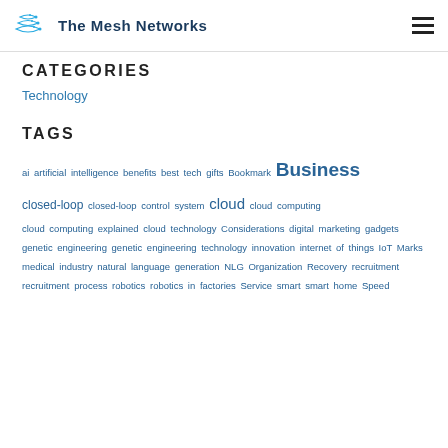The Mesh Networks
CATEGORIES
Technology
TAGS
ai artificial intelligence benefits best tech gifts Bookmark Business closed-loop closed-loop control system cloud cloud computing cloud computing explained cloud technology Considerations digital marketing gadgets genetic engineering genetic engineering technology innovation internet of things IoT Marks medical industry natural language generation NLG Organization Recovery recruitment recruitment process robotics robotics in factories Service smart smart home Speed